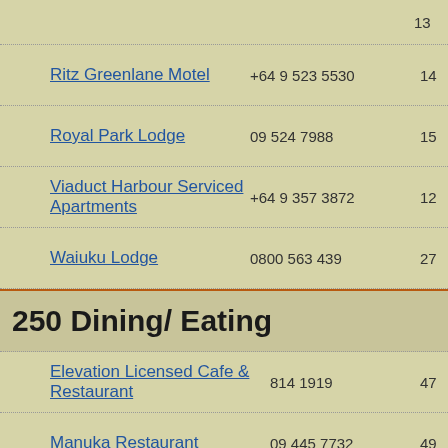[truncated name]  13
Ritz Greenlane Motel  +64 9 523 5530  14
Royal Park Lodge  09 524 7988  15
Viaduct Harbour Serviced Apartments  +64 9 357 3872  12
Waiuku Lodge  0800 563 439  27
250 Dining/ Eating
Elevation Licensed Cafe & Restaurant  814 1919  47
Manuka Restaurant  09 445 7732  49
300 Churches
Anglican Diocese of Auckland  09 302 7201  12
Auckland Bible Church  09 523 4350  30
Holy Trinity Cathedral, Auckland  +64 9 303 9500  co... Av...
Mairangi Bay Community Church  09 478 6314  49